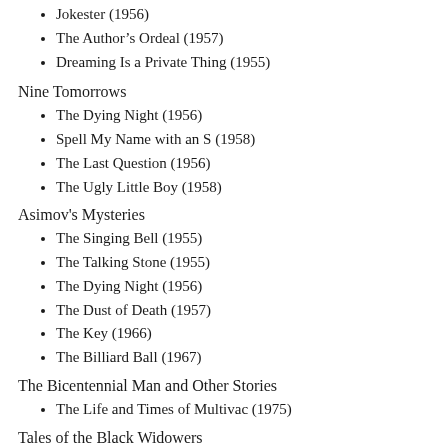Jokester (1956)
The Author's Ordeal (1957)
Dreaming Is a Private Thing (1955)
Nine Tomorrows
The Dying Night (1956)
Spell My Name with an S (1958)
The Last Question (1956)
The Ugly Little Boy (1958)
Asimov's Mysteries
The Singing Bell (1955)
The Talking Stone (1955)
The Dying Night (1956)
The Dust of Death (1957)
The Key (1966)
The Billiard Ball (1967)
The Bicentennial Man and Other Stories
The Life and Times of Multivac (1975)
Tales of the Black Widowers